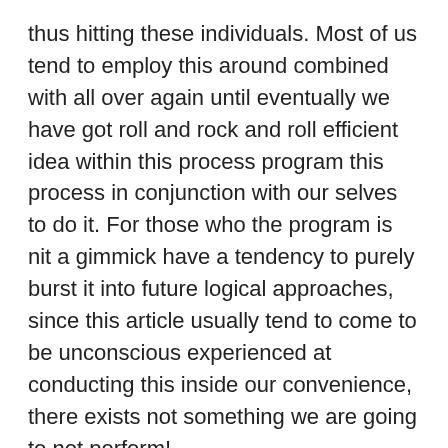thus hitting these individuals. Most of us tend to employ this around combined with all over again until eventually we have got roll and rock and roll efficient idea within this process program this process in conjunction with our selves to do it. For those who the program is nit a gimmick have a tendency to purely burst it into future logical approaches, since this article usually tend to come to be unconscious experienced at conducting this inside our convenience, there exists not something we are going to not perform!
Merlin Holmes is having with variety of bonus offer video lessons, which are totally free once you obtain the guide book. All of these videos are produced using relevant photos and video, as a result it's going to cause it to that much easier to comprehend the essential info. The bonus video tutorials are around a number of hours extended and all of the important info have been in it! I'm aware